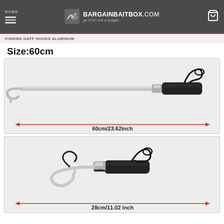HOME | BargainBaitBox.com — go FISH ON a budget.
FISHING GAFF HOOKS ALUMINUM
Size:60cm
[Figure (photo): Top image: Extended aluminum fishing gaff hook (60cm/23.62inch) with silver metal shaft, curved stainless hook on the left end, black foam grip handle on the right, black wrist strap cord. A red double-arrow measurement line below indicates total length 60cm/23.62inch.]
[Figure (photo): Bottom image: Folded/collapsed aluminum fishing gaff hook (28cm/11.02inch) showing the hook folded back alongside the handle, black foam grip, silver aluminum collar joint, black wrist strap cord. A red double-arrow measurement line below indicates folded length 28cm/11.02 inch.]